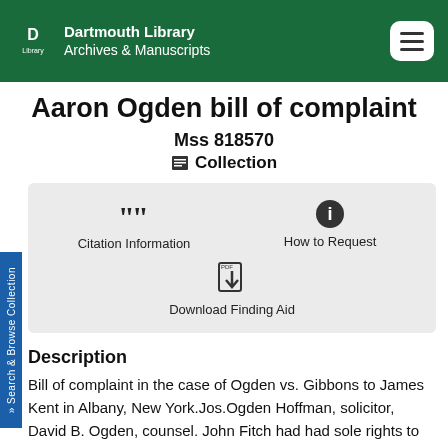Dartmouth Library Archives & Manuscripts
Aaron Ogden bill of complaint
Mss 818570
Collection
[Figure (infographic): Action buttons: Citation Information, How to Request, Download Finding Aid]
Description
Bill of complaint in the case of Ogden vs. Gibbons to James Kent in Albany, New York.Jos.Ogden Hoffman, solicitor, David B. Ogden, counsel. John Fitch had had sole rights to the invention and use of steampowered